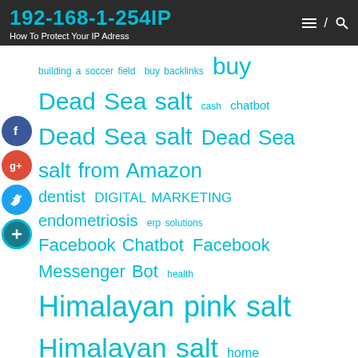192-168-1-254IP — How To Protect Your IP Adress
[Figure (infographic): Tag cloud with various keywords in teal/cyan color at different font sizes, including: building a soccer field, buy backlinks, buy Dead Sea salt, cash, chatbot, Dead Sea salt, Dead Sea salt from Amazon, dentist, DIGITAL MARKETING, endometriosis, erp solutions, Facebook Chatbot, Facebook Messenger Bot, health, Himalayan pink salt, Himalayan salt, home, soccer field, kids, Messenger Bot, Pink Himalayan salt, Pink salt, processing, pure Dead Sea salt, Responsive, Web Design, screw air compressors, seo books, social media marketing, ient, truffle salt, truffle sea salt, urban street soccer, web, sign, web design company, web design, services, website chatbot, website design, Website Designer Near Me. Social media icons visible on the left side (Facebook, Google+, Twitter, a teal circle with plus). A back-to-top teal button at bottom right.]